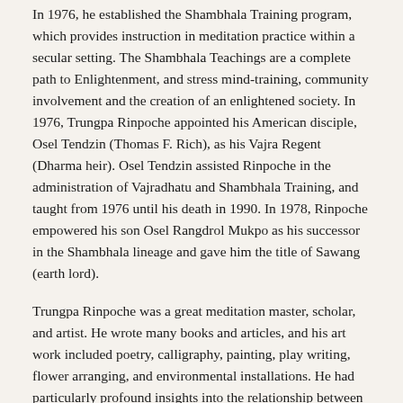In 1976, he established the Shambhala Training program, which provides instruction in meditation practice within a secular setting. The Shambhala Teachings are a complete path to Enlightenment, and stress mind-training, community involvement and the creation of an enlightened society. In 1976, Trungpa Rinpoche appointed his American disciple, Osel Tendzin (Thomas F. Rich), as his Vajra Regent (Dharma heir). Osel Tendzin assisted Rinpoche in the administration of Vajradhatu and Shambhala Training, and taught from 1976 until his death in 1990. In 1978, Rinpoche empowered his son Osel Rangdrol Mukpo as his successor in the Shambhala lineage and gave him the title of Sawang (earth lord).
Trungpa Rinpoche was a great meditation master, scholar, and artist. He wrote many books and articles, and his art work included poetry, calligraphy, painting, play writing, flower arranging, and environmental installations. He had particularly profound insights into the relationship between the contemplative discipline and the artistic process.
Trungpa Rinpoche died in 1987, at the age of forty-seven. He is survived by his wife Diana, and five sons. His eldest son, Osel Rangdrol Mukpo, succeeds him as president of Vajradhatu. Trungpa Rinpoche was able to present the Dharma to his